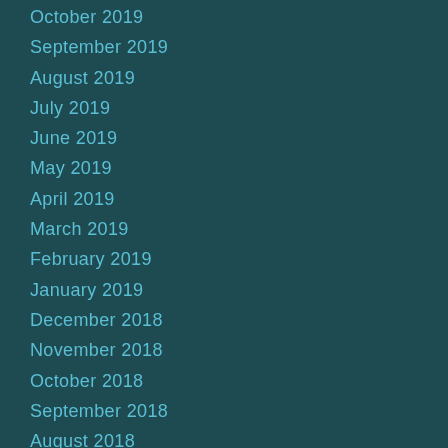October 2019
September 2019
August 2019
July 2019
June 2019
May 2019
April 2019
March 2019
February 2019
January 2019
December 2018
November 2018
October 2018
September 2018
August 2018
July 2018
June 2018
May 2018